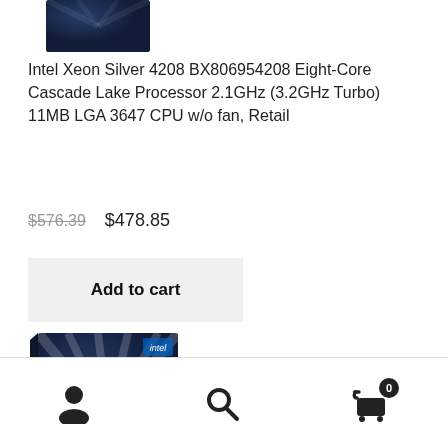[Figure (photo): Partial top of Intel Xeon product box, dark navy blue]
Intel Xeon Silver 4208 BX806954208 Eight-Core Cascade Lake Processor 2.1GHz (3.2GHz Turbo) 11MB LGA 3647 CPU w/o fan, Retail
$576.39  $478.85
Add to cart
[Figure (photo): Intel Xeon Silver processor retail box, dark navy blue with XEON SILVER text]
0